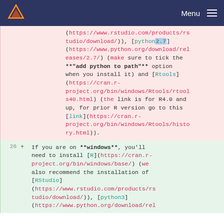Menu
(https://www.rstudio.com/products/rs tudio/download/)), [python2.7] (https://www.python.org/download/rel eases/2.7/) (make sure to tick the **"add python to path"** option when you install it) and [Rtools] (https://cran.r-project.org/bin/windows/Rtools/rtools40.html) (the link is for R4.0 and up, for prior R version go to this [link](https://cran.r-project.org/bin/windows/Rtools/history.html)).
26 + If you are on **windows**, you'll need to install [R](https://cran.r-project.org/bin/windows/base/) (we also recommend the installation of [RStudio] (https://www.rstudio.com/products/rs tudio/download/)), [python3] (https://www.python.org/download/rel